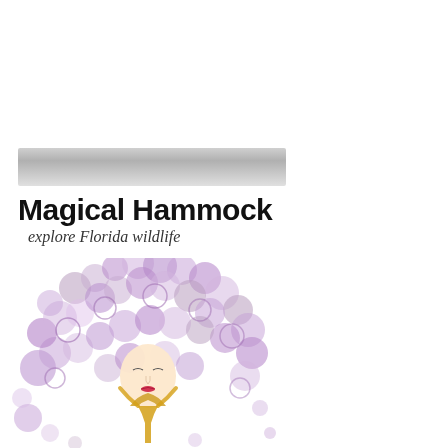[Figure (illustration): Gray metallic gradient bar/banner element]
Magical Hammock
explore Florida wildlife
[Figure (illustration): Watercolor illustration of a woman with large flowing purple/lavender hair made of circular floral shapes, with a golden wine glass or tree trunk as her neck/body, set against a white background]